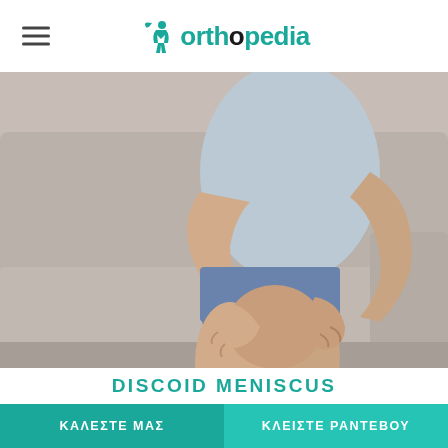orthopedia
[Figure (photo): Person sitting on a couch, hands holding a painful knee, wearing blue denim shorts and light blue shirt, indoor setting]
DISCOID MENISCUS
ΚΑΛΕΣΤΕ ΜΑΣ
ΚΛΕΙΣΤΕ ΡΑΝΤΕΒΟΥ